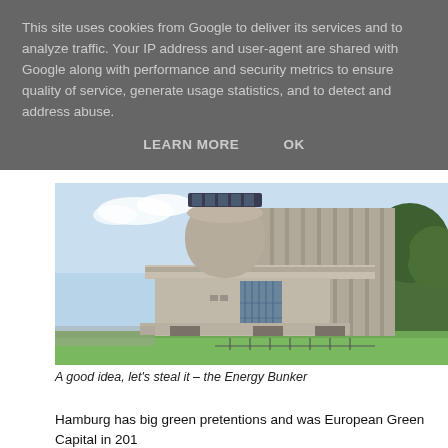This site uses cookies from Google to deliver its services and to analyze traffic. Your IP address and user-agent are shared with Google along with performance and security metrics to ensure quality of service, generate usage statistics, and to detect and address abuse.
LEARN MORE    OK
[Figure (photo): Photograph of the Energy Bunker building in Hamburg — a large brutalist concrete structure with a cylindrical tower topped with solar panels, a flat cantilevered slab, and a tall rectangular block. Trees are visible on the right and green lawn at the base.]
A good idea, let's steal it – the Energy Bunker
Hamburg has big green pretentions and was European Green Capital in 201